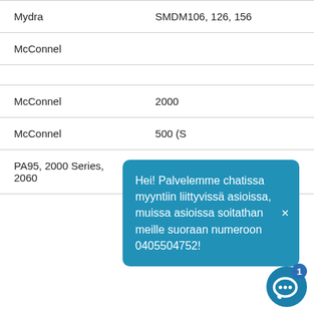| Mydra | SMDM106, 126, 156 |
| McConnel |  |
|  |  |
| McConnel | 2000 |
| McConnel | 500 (S… |
| PA95, 2000 Series,
2060 |  |
[Figure (screenshot): Blue chat popup with Finnish text: Hei! Palvelemme chatissa myyntiin liittyvissä asioissa, muissa asioissa soitathan meille suoraan numeroon 0405504752! with a close (x) button, and a chat bubble icon with badge showing 1.]